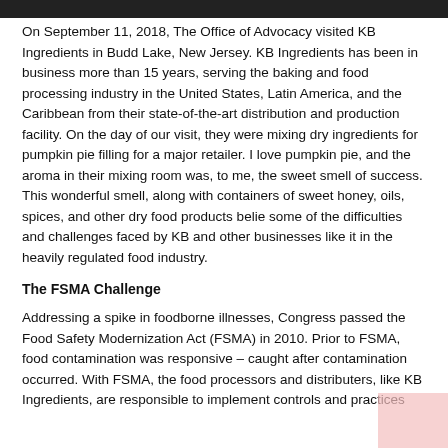On September 11, 2018, The Office of Advocacy visited KB Ingredients in Budd Lake, New Jersey. KB Ingredients has been in business more than 15 years, serving the baking and food processing industry in the United States, Latin America, and the Caribbean from their state-of-the-art distribution and production facility. On the day of our visit, they were mixing dry ingredients for pumpkin pie filling for a major retailer. I love pumpkin pie, and the aroma in their mixing room was, to me, the sweet smell of success. This wonderful smell, along with containers of sweet honey, oils, spices, and other dry food products belie some of the difficulties and challenges faced by KB and other businesses like it in the heavily regulated food industry.
The FSMA Challenge
Addressing a spike in foodborne illnesses, Congress passed the Food Safety Modernization Act (FSMA) in 2010. Prior to FSMA, food contamination was responsive – caught after contamination occurred. With FSMA, the food processors and distributers, like KB Ingredients, are responsible to implement controls and practices